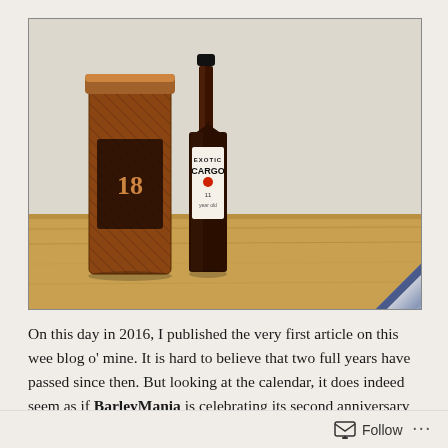[Figure (photo): Photo of two whisky bottles on a wooden surface against a white textured wall. Left bottle is in a decorative tin canister labeled 'Smorc Beastie 18'. Right bottle is a dark glass bottle labeled 'Exotic Cargo 11'. Bottom right corner has a diagonal 'GIVE-AWAY' banner in blue/silver.]
On this day in 2016, I published the very first article on this wee blog o' mine. It is hard to believe that two full years have passed since then. But looking at the calendar, it does indeed seem as if BarleyMania is celebrating its second anniversary today. In the light of this event, I am happy to continue last year's custom of running a Barleyversary competition on my blog and the associated Facebook fanpage. Participation is really easy and the
Follow ···